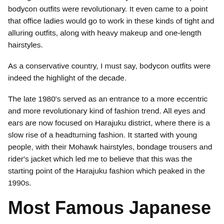the nightclub scene in this current year. But 1980s Japan, bodycon outfits were revolutionary. It even came to a point that office ladies would go to work in these kinds of tight and alluring outfits, along with heavy makeup and one-length hairstyles.
As a conservative country, I must say, bodycon outfits were indeed the highlight of the decade.
The late 1980's served as an entrance to a more eccentric and more revolutionary kind of fashion trend. All eyes and ears are now focused on Harajuku district, where there is a slow rise of a headturning fashion. It started with young people, with their Mohawk hairstyles, bondage trousers and rider's jacket which led me to believe that this was the starting point of the Harajuku fashion which peaked in the 1990s.
Most Famous Japanese